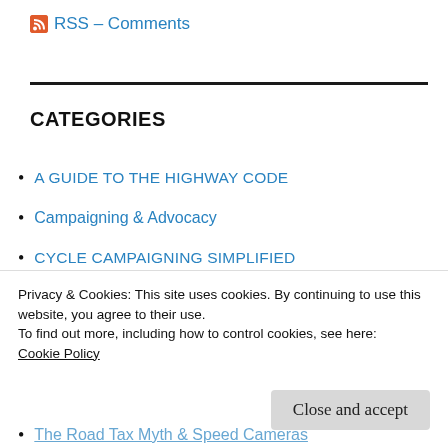RSS – Comments
CATEGORIES
A GUIDE TO THE HIGHWAY CODE
Campaigning & Advocacy
CYCLE CAMPAIGNING SIMPLIFIED
Cycle Lanes – From Miracle to Merde
CYCLING EMBASSY OF GREAT BRITAIN
Privacy & Cookies: This site uses cookies. By continuing to use this website, you agree to their use.
To find out more, including how to control cookies, see here:
Cookie Policy
The Road Tax Myth & Speed Cameras